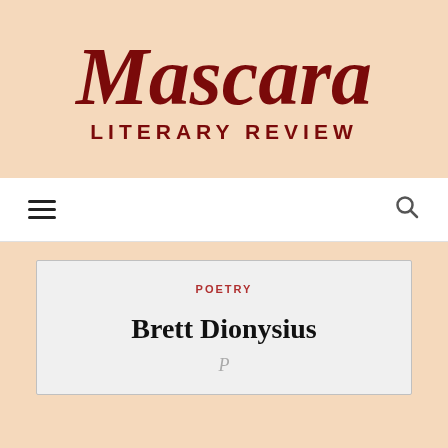[Figure (logo): Mascara Literary Review logo — cursive 'Mascara' in dark red with 'LITERARY REVIEW' in bold dark red capitals below, on a peach/cream background]
Navigation bar with hamburger menu icon and search icon
POETRY
Brett Dionysius